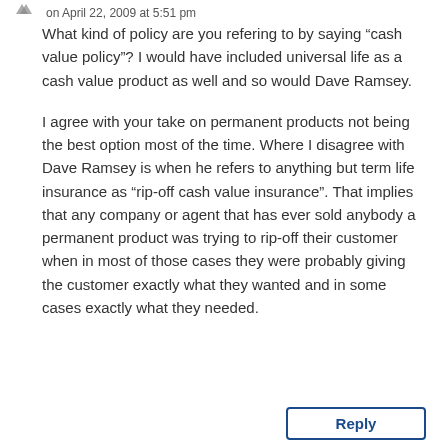on April 22, 2009 at 5:51 pm
What kind of policy are you refering to by saying “cash value policy”? I would have included universal life as a cash value product as well and so would Dave Ramsey.
I agree with your take on permanent products not being the best option most of the time. Where I disagree with Dave Ramsey is when he refers to anything but term life insurance as “rip-off cash value insurance”. That implies that any company or agent that has ever sold anybody a permanent product was trying to rip-off their customer when in most of those cases they were probably giving the customer exactly what they wanted and in some cases exactly what they needed.
Reply